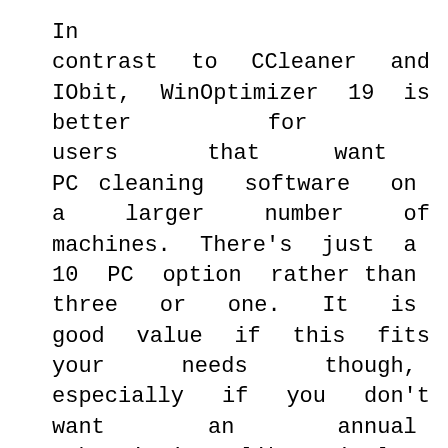In contrast to CCleaner and IObit, WinOptimizer 19 is better for users that want PC cleaning software on a larger number of machines. There's just a 10 PC option rather than three or one. It is good value if this fits your needs though, especially if you don't want an annual subscription like rivals. The software has a user-friendly interface and if you're a novice the 1-Click Optimizer will solve a lot of problems with minimal fuss and it has lots of other tools for the more tech-savvy customer. We found performance to be good, although it took a couple of scans to find everything that could be cleared up. Additionally, utilize the Send Tabs highlight to in a flash share open tabs between work